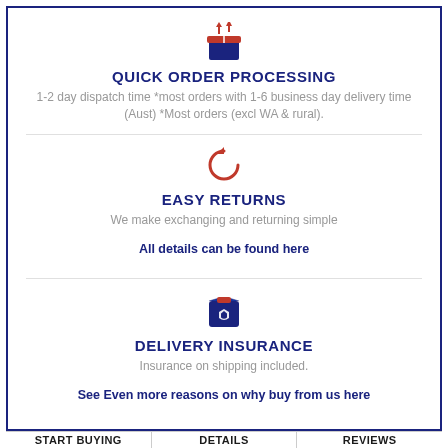[Figure (illustration): Red and navy box with arrows pointing upward icon]
QUICK ORDER PROCESSING
1-2 day dispatch time *most orders with 1-6 business day delivery time (Aust) *Most orders (excl WA & rural).
[Figure (illustration): Red circular return/refresh arrow icon]
EASY RETURNS
We make exchanging and returning simple
All details can be found here
[Figure (illustration): Navy package with red label and shield icon]
DELIVERY INSURANCE
Insurance on shipping included.
See Even more reasons on why buy from us here
START BUYING    DETAILS    REVIEWS